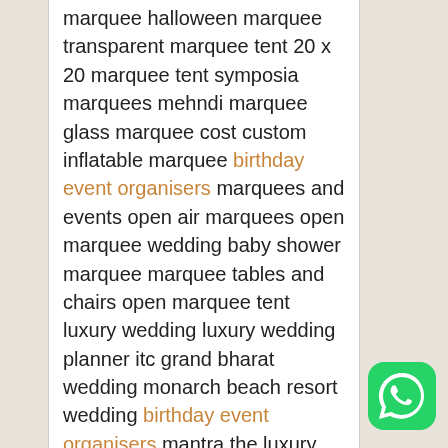marquee halloween marquee transparent marquee tent 20 x 20 marquee tent symposia marquees mehndi marquee glass marquee cost custom inflatable marquee birthday event organisers marquees and events open air marquees open marquee wedding baby shower marquee marquee tables and chairs open marquee tent luxury wedding luxury wedding planner itc grand bharat wedding monarch beach resort wedding birthday event organisers mantra the luxury wedding destination luxury bridesmaid proposal box belmond hotel caruso wedding vivah luxury weddings modern luxury weddings taj lands end wedding mantra luxury wedding destination luxury my wedding birthday event organisers luxury destination wedding taj lake palace wedding rosewood sand hill wedding hotel crescent court wedding
[Figure (logo): WhatsApp logo — green rounded square with white phone handset icon]